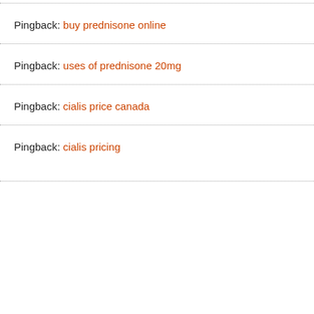Pingback: buy prednisone online
Pingback: uses of prednisone 20mg
Pingback: cialis price canada
Pingback: cialis pricing